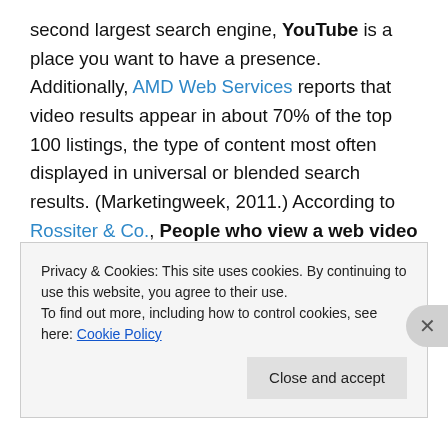second largest search engine, YouTube is a place you want to have a presence. Additionally, AMD Web Services reports that video results appear in about 70% of the top 100 listings, the type of content most often displayed in universal or blended search results. (Marketingweek, 2011.) According to Rossiter & Co., People who view a web video are 64% more likely to purchase than other site visitors. (Comscore.) The best option is to host your own video so that every other video with similar tags (and audiences) doesn't show up when people watch yours – but any video is better than no video at all
Privacy & Cookies: This site uses cookies. By continuing to use this website, you agree to their use. To find out more, including how to control cookies, see here: Cookie Policy